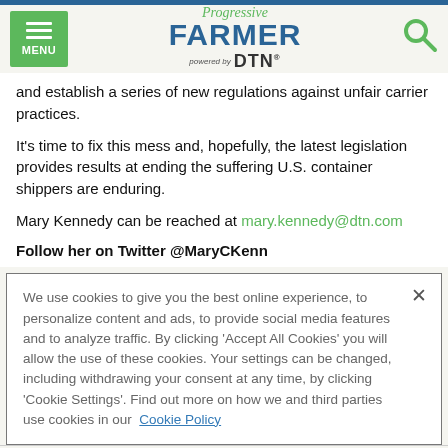Progressive FARMER powered by DTN
and establish a series of new regulations against unfair carrier practices.
It's time to fix this mess and, hopefully, the latest legislation provides results at ending the suffering U.S. container shippers are enduring.
Mary Kennedy can be reached at mary.kennedy@dtn.com
Follow her on Twitter @MaryCKenn
We use cookies to give you the best online experience, to personalize content and ads, to provide social media features and to analyze traffic. By clicking 'Accept All Cookies' you will allow the use of these cookies. Your settings can be changed, including withdrawing your consent at any time, by clicking 'Cookie Settings'. Find out more on how we and third parties use cookies in our  Cookie Policy
Accept and Close ×
Your browser settings do not allow cross-site tracking for advertising. Click on this page to allow AdRoll to use cross-site tracking to tailor ads to you. Learn more or opt out of this AdRoll tracking by clicking here. This message only appears once.